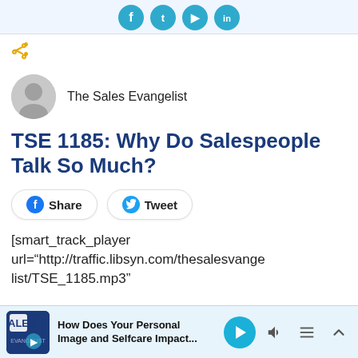[Figure (other): Social media share icons (Facebook, Twitter, Pinterest, LinkedIn) as circular teal buttons at top of page]
[Figure (other): Share arrow icon (yellow/gold color) on left side]
[Figure (other): Circular grey avatar/profile image placeholder next to author name]
The Sales Evangelist
TSE 1185: Why Do Salespeople Talk So Much?
[Figure (other): Facebook Share button and Twitter Tweet button with rounded borders]
[smart_track_player url="http://traffic.libsyn.com/thesalesevangelist/TSE_1185.mp3"
[Figure (other): Bottom audio player bar with podcast thumbnail, title 'How Does Your Personal Image and Selfcare Impact...', play button, volume, list, and collapse controls]